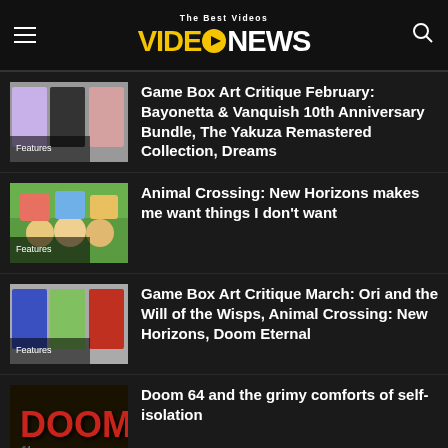VideoNEWS — The Best Videos
Game Box Art Critique February: Bayonetta & Vanquish 10th Anniversary Bundle, The Yakuza Remastered Collection, Dreams
Animal Crossing: New Horizons makes me want things I don't want
Game Box Art Critique March: Ori and the Will of the Wisps, Animal Crossing: New Horizons, Doom Eternal
Doom 64 and the grimy comforts of self-isolation